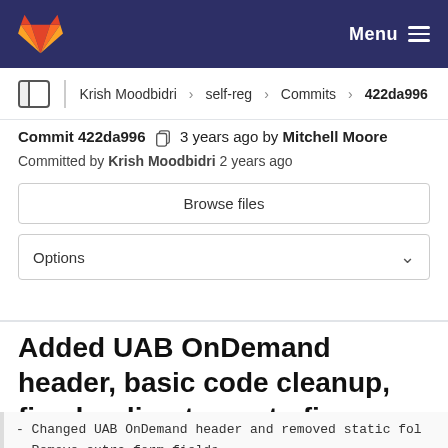Menu
Krish Moodbidri › self-reg › Commits › 422da996
Commit 422da996  3 years ago by Mitchell Moore
Committed by Krish Moodbidri 2 years ago
Browse files
Options
Added UAB OnDemand header, basic code cleanup, fixed redirect args to fix rerouting back to index
- Changed UAB OnDemand header and removed static fol
- Remove extra form fields
- Fixed user name population issue.